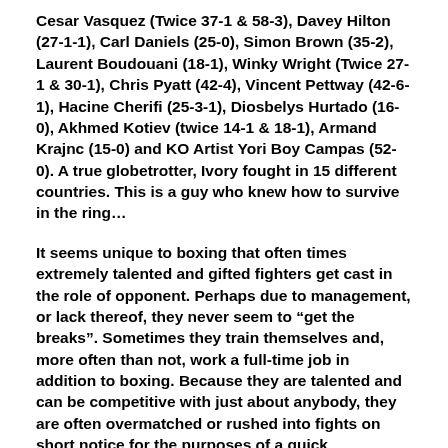Cesar Vasquez (Twice 37-1 & 58-3), Davey Hilton (27-1-1), Carl Daniels (25-0), Simon Brown (35-2), Laurent Boudouani (18-1), Winky Wright (Twice 27-1 & 30-1), Chris Pyatt (42-4), Vincent Pettway (42-6-1), Hacine Cherifi (25-3-1), Diosbelys Hurtado (16-0), Akhmed Kotiev (twice 14-1 & 18-1), Armand Krajnc (15-0) and KO Artist Yori Boy Campas (52-0). A true globetrotter, Ivory fought in 15 different countries. This is a guy who knew how to survive in the ring…
It seems unique to boxing that often times extremely talented and gifted fighters get cast in the role of opponent. Perhaps due to management, or lack thereof, they never seem to “get the breaks”. Sometimes they train themselves and, more often than not, work a full-time job in addition to boxing. Because they are talented and can be competitive with just about anybody, they are often overmatched or rushed into fights on short notice for the purposes of a quick